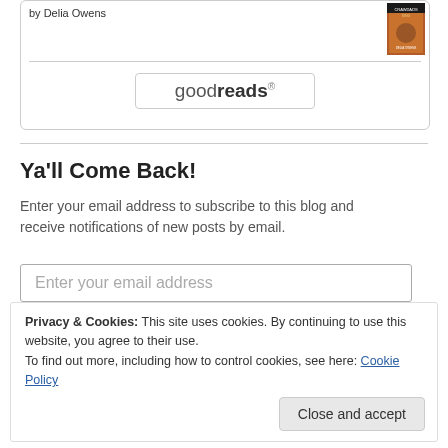by Delia Owens
[Figure (illustration): Book cover thumbnail for 'Where the Crawdads Sing' by Delia Owens]
[Figure (logo): Goodreads button/logo with rounded rectangle border and the text 'goodreads']
Ya'll Come Back!
Enter your email address to subscribe to this blog and receive notifications of new posts by email.
Enter your email address
Privacy & Cookies: This site uses cookies. By continuing to use this website, you agree to their use.
To find out more, including how to control cookies, see here: Cookie Policy
Close and accept